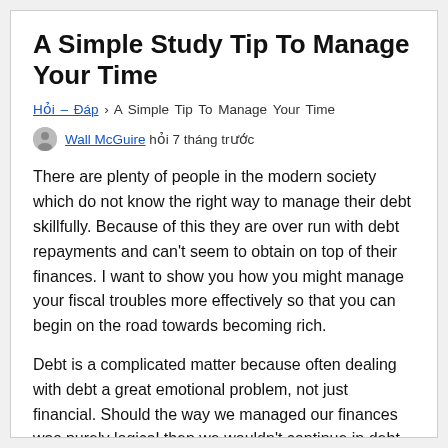A Simple Study Tip To Manage Your Time
Hỏi – Đáp › A Simple Study Tip To Manage Your Time
Wall McGuire hỏi 7 tháng trước
There are plenty of people in the modern society which do not know the right way to manage their debt skillfully. Because of this they are over run with debt repayments and can't seem to obtain on top of their finances. I want to show you how you might manage your fiscal troubles more effectively so that you can begin on the road towards becoming rich.
Debt is a complicated matter because often dealing with debt a great emotional problem, not just financial. Should the way we managed our finances was purely logical then we wouldn't continue in debt all of the first install. When managing debt we must be take our emotions into mind. Often mechwarrior mercenaries crack are unable comply with a plan because